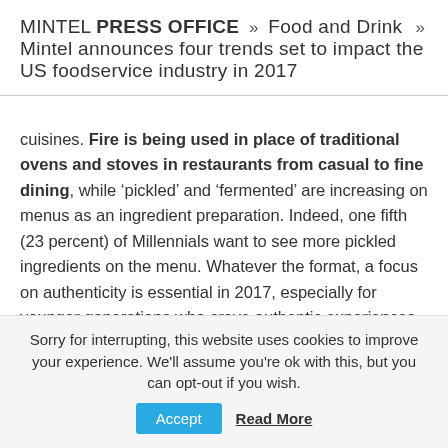MINTEL PRESS OFFICE » Food and Drink » Mintel announces four trends set to impact the US foodservice industry in 2017
cuisines. Fire is being used in place of traditional ovens and stoves in restaurants from casual to fine dining, while 'pickled' and 'fermented' are increasing on menus as an ingredient preparation. Indeed, one fifth (23 percent) of Millennials want to see more pickled ingredients on the menu. Whatever the format, a focus on authenticity is essential in 2017, especially for younger generations who crave authentic experiences and foods.
The Experience Dichotomy
Sorry for interrupting, this website uses cookies to improve your experience. We'll assume you're ok with this, but you can opt-out if you wish.